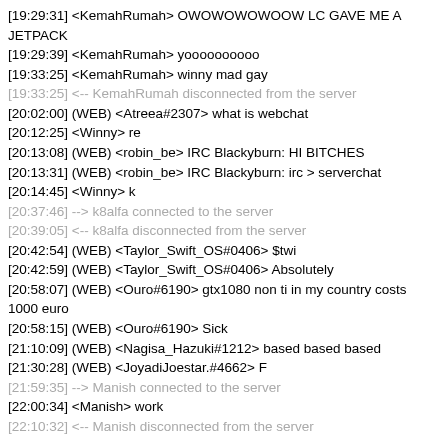[19:29:31] <KemahRumah> OWOWOWOWOOW LC GAVE ME A JETPACK
[19:29:39] <KemahRumah> yoooooooooo
[19:33:25] <KemahRumah> winny mad gay
[19:33:25] <-- KemahRumah disconnected from the server
[20:02:00] (WEB) <Atreea#2307> what is webchat
[20:12:25] <Winny> re
[20:13:08] (WEB) <robin_be> IRC Blackyburn: HI BITCHES
[20:13:31] (WEB) <robin_be> IRC Blackyburn: irc > serverchat
[20:14:45] <Winny> k
[20:37:46] --> k8alfa connected to the server
[20:39:05] <-- k8alfa disconnected from the server
[20:42:54] (WEB) <Taylor_Swift_OS#0406> $twi
[20:42:59] (WEB) <Taylor_Swift_OS#0406> Absolutely
[20:58:07] (WEB) <Ouro#6190> gtx1080 non ti in my country costs 1000 euro
[20:58:15] (WEB) <Ouro#6190> Sick
[21:10:09] (WEB) <Nagisa_Hazuki#1212> based based based
[21:30:28] (WEB) <JoyadiJoestar.#4662> F
[21:59:35] --> Manish connected to the server
[22:00:34] <Manish> work
[22:10:32] <-- Manish disconnected from the server
back